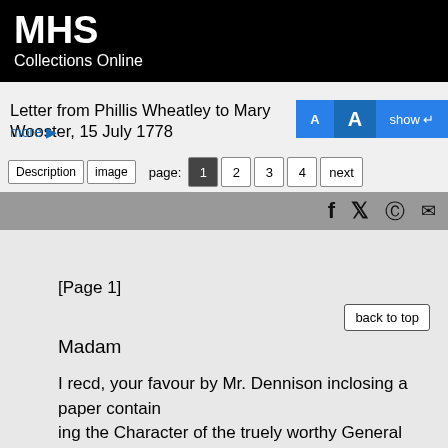MHS Collections Online
Letter from Phillis Wheatley to Mary Wooster, 15 July 1778
more ▶
Description  image  page: 1 2 3 4 next
[Page 1]
back to top
Madam
I recd, your favour by Mr. Dennison inclosing a paper contain
ing the Character of the truely worthy General Wooster. It was with the